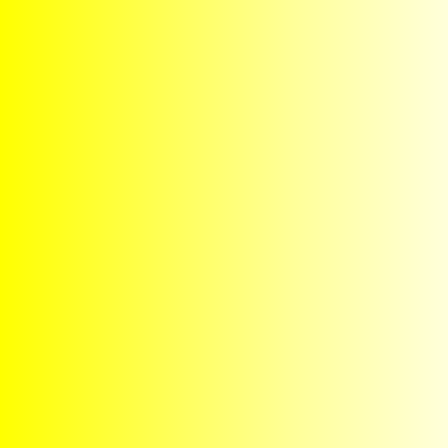[Figure (illustration): Yellow to white gradient panel on the left side of the page]
world gather to learn, exchange, celebrate and share.

After this you may apply the highest "job": to become an Eco-Spiritual Teacher of the Original Tradition. If granted you once again return to Han Marie Stiekema, living with him at his Hermitage serving the Cosmic Mother. It is a period of intense worship, in which you take refuge in Her "Cycle of Birth and Death", aiming at giving up your ego, while becoming renewed in such a way, that it becomes your foundation of life. It again may take some time before the Teacher determines if and when you may enter the final vow, initiation (Grea...